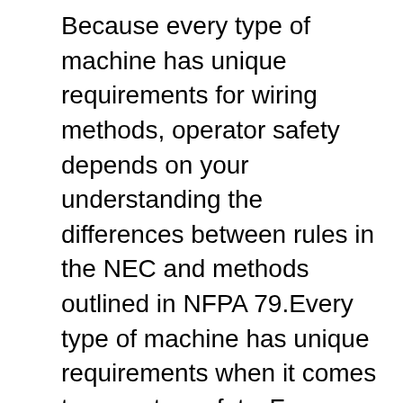Because every type of machine has unique requirements for wiring methods, operator safety depends on your understanding the differences between rules in the NEC and methods outlined in NFPA 79.Every type of machine has unique requirements when it comes to operator safety. From an electrical standpoint, industrial machine equipment and tools 1 These regulations may be cited as the Electrical Code work of a routine nature and connected with the maintenance or operation of an industrial, commercial or other establishment; (k) “permit” means a communications permit, an electrical permit or a maintenance